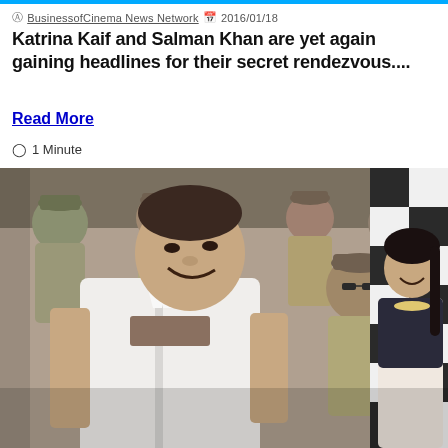BusinessofCinema News Network  2016/01/18
Katrina Kaif and Salman Khan are yet again gaining headlines for their secret rendezvous....
Read More
1 Minute
[Figure (photo): A man in a white shirt smiling, surrounded by police officers in khaki uniforms, with a composite image of a woman in a black outfit on the right side against a checkered background.]